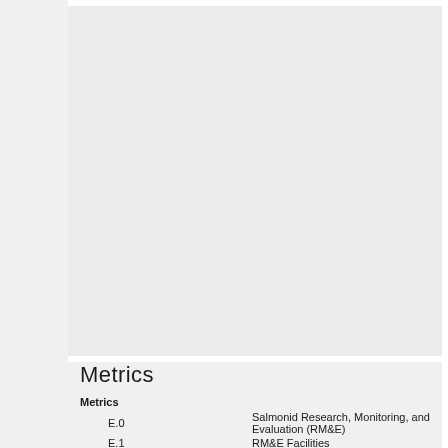Photos
[Figure (photo): Empty photo placeholder area with light gray background]
Metrics
| Metrics |  |
| E.0 | Salmonid Research, Monitoring, and Evaluation (RM&E) |
| E.1 | RM&E Facilities |